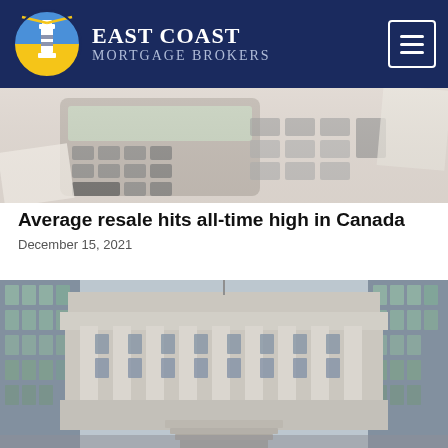EAST COAST MORTGAGE BROKERS
[Figure (photo): Close-up photo of a calculator with financial documents on a desk]
Average resale hits all-time high in Canada
December 15, 2021
[Figure (photo): Exterior photograph of the Bank of Canada building with modern glass buildings on either side]